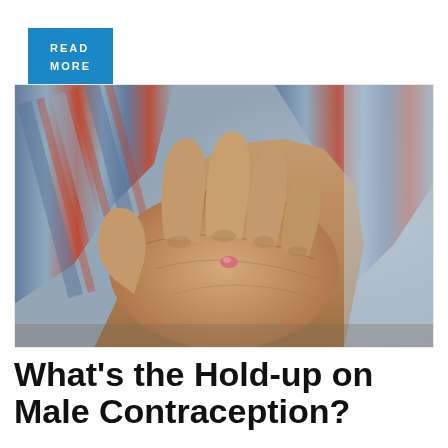READ MORE
[Figure (photo): Close-up photograph of a man's open palm holding a small pink pill. The man is wearing a plaid shirt with blue, white and orange stripes visible at the wrist.]
What's the Hold-up on Male Contraception?